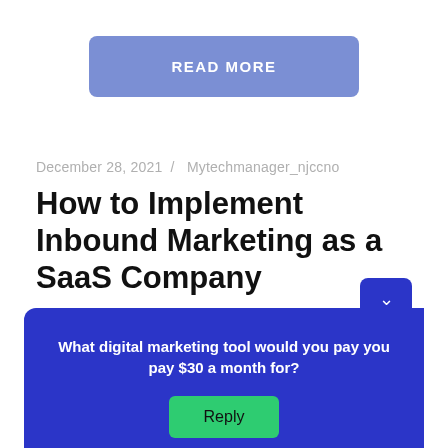[Figure (other): Blue 'READ MORE' button]
December 28, 2021  /  Mytechmanager_njccno
How to Implement Inbound Marketing as a SaaS Company
[Figure (other): Blue chat widget with question 'What digital marketing tool would you pay $30 a month for?' and a green Reply button]